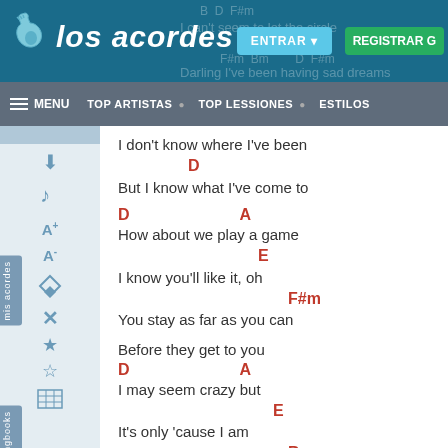los acordes - website header with ENTRAR and REGISTRAR G buttons
MENU | TOP ARTISTAS | TOP LESSIONES | ESTILOS
I don't know where I've been
D
But I know what I've come to
D                    A
How about we play a game
E
I know you'll like it, oh
F#m
You stay as far as you can
Before they get to you
D                    A
I may seem crazy but
E
It's only 'cause I am
Bm